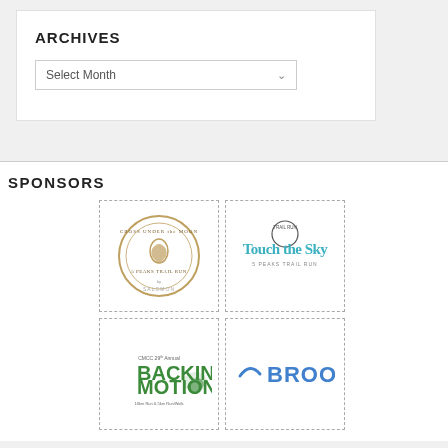ARCHIVES
Select Month
SPONSORS
[Figure (logo): Cross Under the Moon 5 Peaks Trail Run by Salomon circular badge logo in gold and brown]
[Figure (logo): Trail Run Touch the Sky 5 Peaks Trail Run logo in teal/blue text]
[Figure (logo): CMCC 29th Annual Backins Motion 10km Run & 5km Run/Walk logo in green with running shoe]
[Figure (logo): Brooks running brand logo in blue]